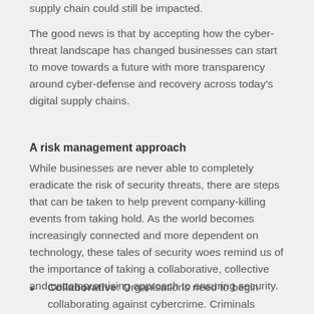supply chain could still be impacted.
The good news is that by accepting how the cyber-threat landscape has changed businesses can start to move towards a future with more transparency around cyber-defense and recovery across today's digital supply chains.
A risk management approach
While businesses are never able to completely eradicate the risk of security threats, there are steps that can be taken to help prevent company-killing events from taking hold. As the world becomes increasingly connected and more dependent on technology, these tales of security woes remind us of the importance of taking a collaborative, collective and uncompromising approach to ensuring security.
Collaborative: Organisations need to begin collaborating against cybercrime. Criminals innovate